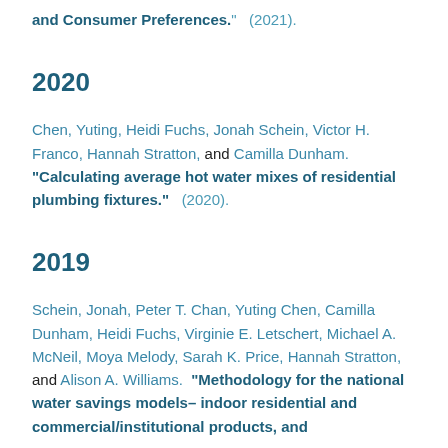and Consumer Preferences." (2021).
2020
Chen, Yuting, Heidi Fuchs, Jonah Schein, Victor H. Franco, Hannah Stratton, and Camilla Dunham. "Calculating average hot water mixes of residential plumbing fixtures." (2020).
2019
Schein, Jonah, Peter T. Chan, Yuting Chen, Camilla Dunham, Heidi Fuchs, Virginie E. Letschert, Michael A. McNeil, Moya Melody, Sarah K. Price, Hannah Stratton, and Alison A. Williams. "Methodology for the national water savings models– indoor residential and commercial/institutional products, and